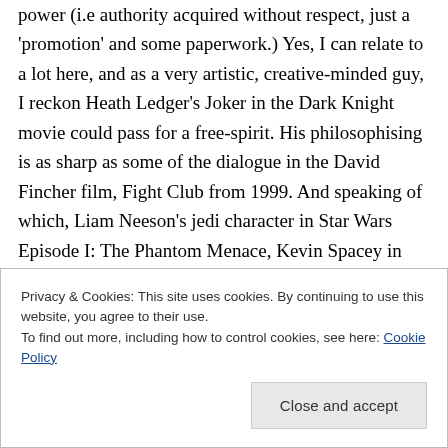power (i.e authority acquired without respect, just a 'promotion' and some paperwork.) Yes, I can relate to a lot here, and as a very artistic, creative-minded guy, I reckon Heath Ledger's Joker in the Dark Knight movie could pass for a free-spirit. His philosophising is as sharp as some of the dialogue in the David Fincher film, Fight Club from 1999. And speaking of which, Liam Neeson's jedi character in Star Wars Episode I: The Phantom Menace, Kevin Spacey in American Beauty, and Keanu Reeves' in the
Privacy & Cookies: This site uses cookies. By continuing to use this website, you agree to their use.
To find out more, including how to control cookies, see here: Cookie Policy
Close and accept